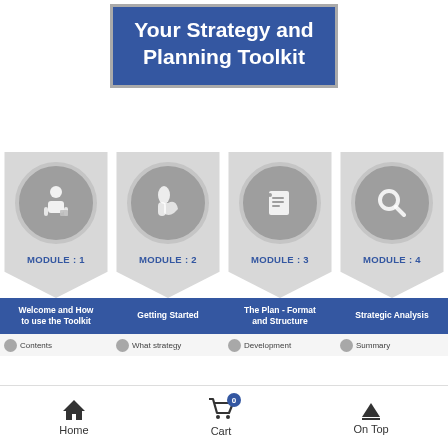Your Strategy and Planning Toolkit
[Figure (infographic): Four module tiles with circular icons, pentagon-shaped backgrounds, module numbers (MODULE: 1 through MODULE: 4) in blue, blue title bars, and sub-item rows. Module 1: Welcome and How to use the Toolkit / Contents. Module 2: Getting Started / What strategy. Module 3: The Plan - Format and Structure / Development. Module 4: Strategic Analysis / Summary.]
Home   Cart   On Top